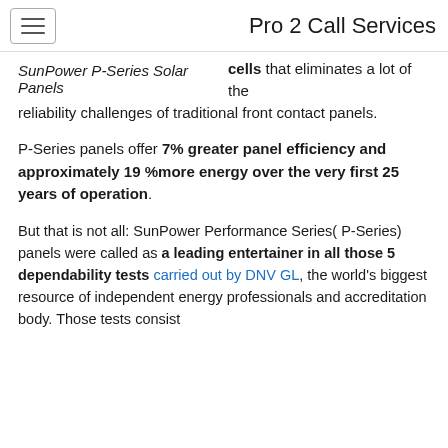Pro 2 Call Services
SunPower P-Series Solar Panels
cells that eliminates a lot of the reliability challenges of traditional front contact panels.
P-Series panels offer 7% greater panel efficiency and approximately 19 %more energy over the very first 25 years of operation.
But that is not all: SunPower Performance Series( P-Series) panels were called as a leading entertainer in all those 5 dependability tests carried out by DNV GL, the world’s biggest resource of independent energy professionals and accreditation body. Those tests consist